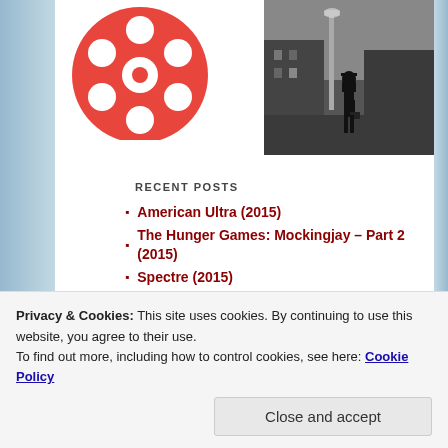[Figure (illustration): Red film reel icon/logo (cinema reel with holes)]
[Figure (photo): Black and white photo of a lone figure (man with briefcase) standing on a street at night, likely from The Exorcist film]
RECENT POSTS
American Ultra (2015)
The Hunger Games: Mockingjay – Part 2 (2015)
Spectre (2015)
Locke (2014)
The Interview (2014)
The Guest (2014)
Teenage Mutant Ninja Turtles (2014)
What If (2014)
Privacy & Cookies: This site uses cookies. By continuing to use this website, you agree to their use.
To find out more, including how to control cookies, see here: Cookie Policy
Close and accept